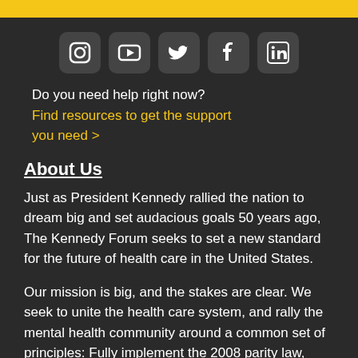[Figure (other): Yellow top bar/banner]
[Figure (other): Social media icons row: Instagram, YouTube, Twitter, Facebook, LinkedIn]
Do you need help right now?
Find resources to get the support you need >
About Us
Just as President Kennedy rallied the nation to dream big and set audacious goals 50 years ago, The Kennedy Forum seeks to set a new standard for the future of health care in the United States.
Our mission is big, and the stakes are clear. We seek to unite the health care system, and rally the mental health community around a common set of principles: Fully implement the 2008 parity law, bring business leaders and government agencies together to...